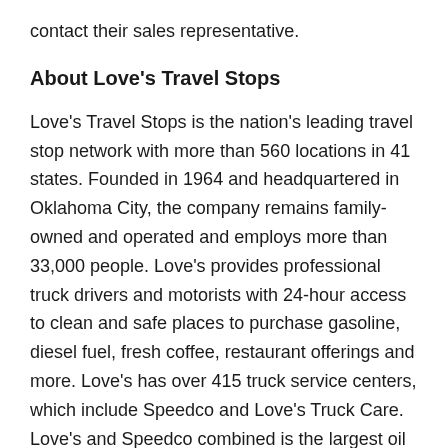contact their sales representative.
About Love's Travel Stops
Love's Travel Stops is the nation's leading travel stop network with more than 560 locations in 41 states. Founded in 1964 and headquartered in Oklahoma City, the company remains family-owned and operated and employs more than 33,000 people. Love's provides professional truck drivers and motorists with 24-hour access to clean and safe places to purchase gasoline, diesel fuel, fresh coffee, restaurant offerings and more. Love's has over 415 truck service centers, which include Speedco and Love's Truck Care. Love's and Speedco combined is the largest oil change, preventive maintenance and total truck care nationwide network with over 1,500 maintenance bays and 1,200 emergency roadside vehicles. Love's is committed to